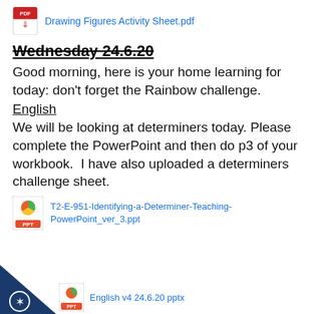[Figure (other): PDF file icon with link to Drawing Figures Activity Sheet.pdf]
Wednesday 24.6.20
Good morning, here is your home learning for today: don't forget the Rainbow challenge.
English
We will be looking at determiners today. Please complete the PowerPoint and then do p3 of your workbook.  I have also uploaded a determiners challenge sheet.
[Figure (other): PowerPoint file icon with link to T2-E-951-Identifying-a-Determiner-Teaching-PowerPoint_ver_3.ppt]
[Figure (other): Partial view of another file icon at bottom of page, with partial link text English v4 24.6.20 pptx]